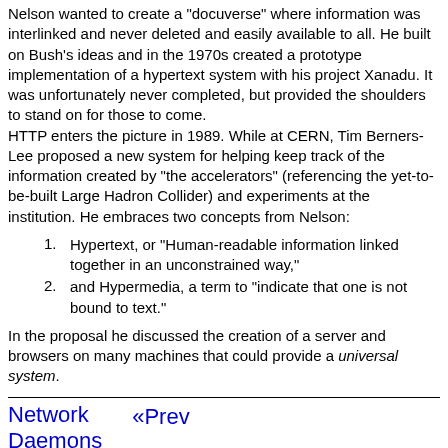Nelson wanted to create a "docuverse" where information was interlinked and never deleted and easily available to all. He built on Bush's ideas and in the 1970s created a prototype implementation of a hypertext system with his project Xanadu. It was unfortunately never completed, but provided the shoulders to stand on for those to come.
HTTP enters the picture in 1989. While at CERN, Tim Berners-Lee proposed a new system for helping keep track of the information created by "the accelerators" (referencing the yet-to-be-built Large Hadron Collider) and experiments at the institution. He embraces two concepts from Nelson:
Hypertext, or "Human-readable information linked together in an unconstrained way,"
and Hypermedia, a term to "indicate that one is not bound to text."
In the proposal he discussed the creation of a server and browsers on many machines that could provide a universal system.
Network Daemons  «Prev